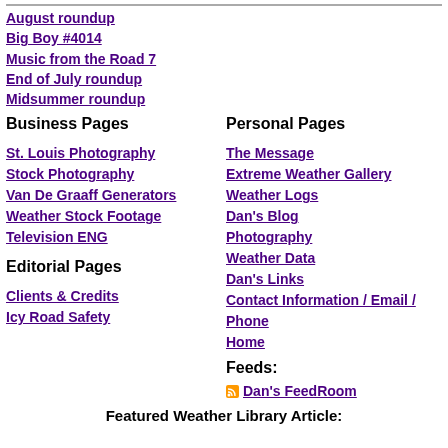August roundup
Big Boy #4014
Music from the Road 7
End of July roundup
Midsummer roundup
Business Pages
Personal Pages
St. Louis Photography
Stock Photography
Van De Graaff Generators
Weather Stock Footage
Television ENG
The Message
Extreme Weather Gallery
Weather Logs
Dan's Blog
Photography
Weather Data
Dan's Links
Contact Information / Email / Phone
Home
Editorial Pages
Clients & Credits
Icy Road Safety
Feeds:
Dan's FeedRoom
Featured Weather Library Article: